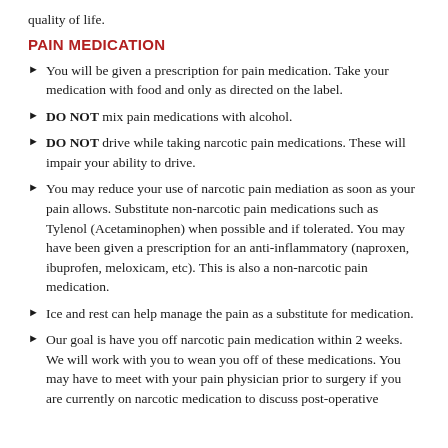quality of life.
PAIN MEDICATION
You will be given a prescription for pain medication. Take your medication with food and only as directed on the label.
DO NOT mix pain medications with alcohol.
DO NOT drive while taking narcotic pain medications. These will impair your ability to drive.
You may reduce your use of narcotic pain mediation as soon as your pain allows. Substitute non-narcotic pain medications such as Tylenol (Acetaminophen) when possible and if tolerated. You may have been given a prescription for an anti-inflammatory (naproxen, ibuprofen, meloxicam, etc). This is also a non-narcotic pain medication.
Ice and rest can help manage the pain as a substitute for medication.
Our goal is have you off narcotic pain medication within 2 weeks. We will work with you to wean you off of these medications. You may have to meet with your pain physician prior to surgery if you are currently on narcotic medication to discuss post-operative